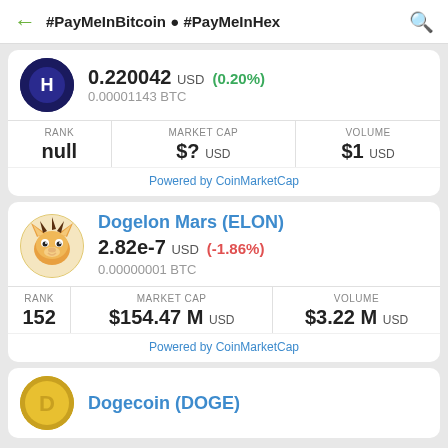#PayMeInBitcoin • #PayMeInHex
0.220042 USD (0.20%) 0.00001143 BTC
| RANK | MARKET CAP | VOLUME |
| --- | --- | --- |
| null | $? USD | $1 USD |
Powered by CoinMarketCap
Dogelon Mars (ELON)
2.82e-7 USD (-1.86%) 0.00000001 BTC
| RANK | MARKET CAP | VOLUME |
| --- | --- | --- |
| 152 | $154.47 M USD | $3.22 M USD |
Powered by CoinMarketCap
Dogecoin (DOGE)